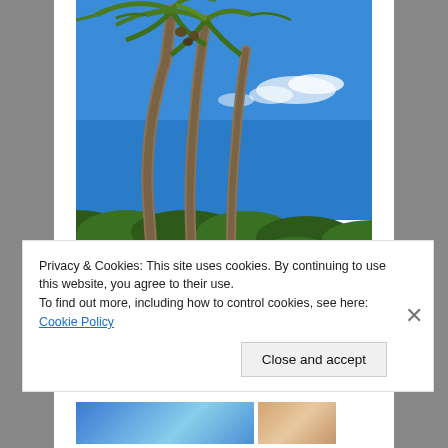[Figure (photo): Tropical coastal scene with tall palm trees leaning over black lava rocks, lush green vegetation, bright blue sky with light clouds, and deep blue ocean waves crashing against the rocky shoreline.]
Privacy & Cookies: This site uses cookies. By continuing to use this website, you agree to their use.
To find out more, including how to control cookies, see here: Cookie Policy
Close and accept